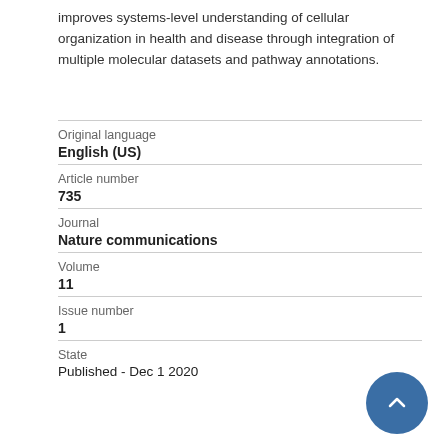improves systems-level understanding of cellular organization in health and disease through integration of multiple molecular datasets and pathway annotations.
| Original language | English (US) |
| Article number | 735 |
| Journal | Nature communications |
| Volume | 11 |
| Issue number | 1 |
| State | Published - Dec 1 2020 |